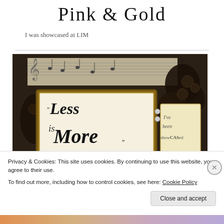Pink & Gold
I was showcased at LIM
[Figure (illustration): Decorative vintage image with floral/rose motifs and musical sheet background. Features a framed card reading 'Less is More' in ornate calligraphy, alongside a tag reading 'I've been showCASed'.]
Privacy & Cookies: This site uses cookies. By continuing to use this website, you agree to their use.
To find out more, including how to control cookies, see here: Cookie Policy